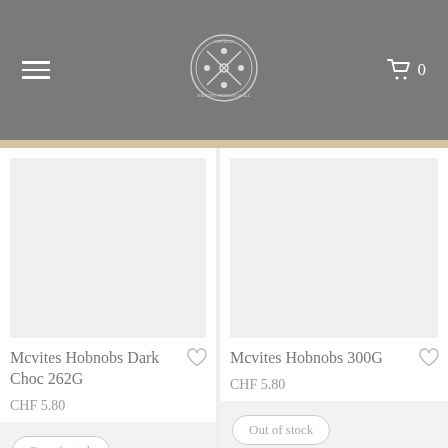British Cheese Ball logo, hamburger menu, cart icon with 0
[Figure (illustration): Product image placeholder (light gray rectangle) for Mcvites Hobnobs Dark Choc 262G]
Mcvites Hobnobs Dark Choc 262G
CHF 5.80
Out of stock
[Figure (illustration): Product image placeholder (light gray rectangle) for Mcvites Hobnobs 300G]
Mcvites Hobnobs 300G
CHF 5.80
Out of stock